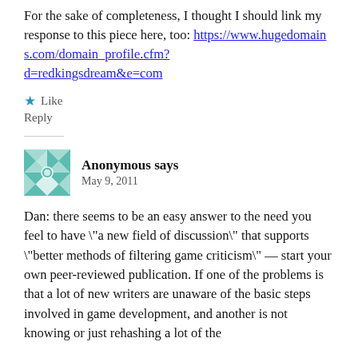For the sake of completeness, I thought I should link my response to this piece here, too: https://www.hugedomains.com/domain_profile.cfm?d=redkingsdream&e=com
★ Like
Reply
Anonymous says
May 9, 2011
Dan: there seems to be an easy answer to the need you feel to have \"a new field of discussion\" that supports \"better methods of filtering game criticism\" — start your own peer-reviewed publication. If one of the problems is that a lot of new writers are unaware of the basic steps involved in game development, and another is not knowing or just rehashing a lot of the